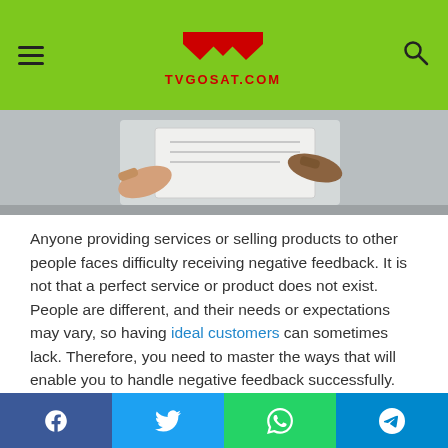TVGOSAT.COM
[Figure (photo): Hands exchanging or reviewing a document/paper, gray/white background]
Anyone providing services or selling products to other people faces difficulty receiving negative feedback. It is not that a perfect service or product does not exist. People are different, and their needs or expectations may vary, so having ideal customers can sometimes lack. Therefore, you need to master the ways that will enable you to handle negative feedback successfully.
Continue reading to learn the six tips to handle negative feedback.
Facebook | Twitter | WhatsApp | Telegram